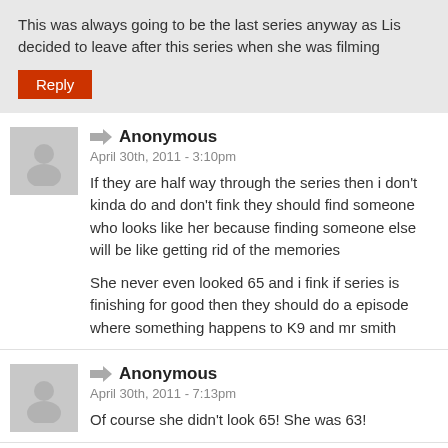This was always going to be the last series anyway as Lis decided to leave after this series when she was filming
Reply
Anonymous
April 30th, 2011 - 3:10pm
If they are half way through the series then i don't kinda do and don't fink they should find someone who looks like her because finding someone else will be like getting rid of the memories

She never even looked 65 and i fink if series is finishing for good then they should do a episode where something happens to K9 and mr smith
Anonymous
April 30th, 2011 - 7:13pm
Of course she didn't look 65! She was 63!
NotADalek
April 30th, 2011 - 7:26pm